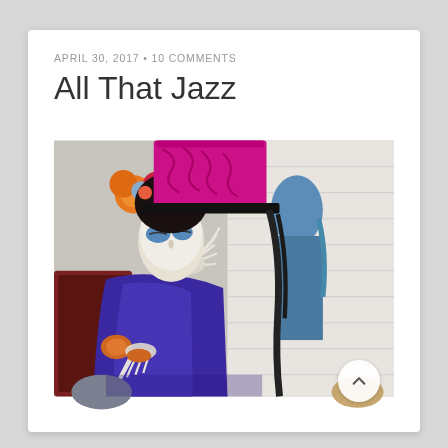APRIL 30, 2017 • 10 COMMENTS
All That Jazz
[Figure (photo): A person wearing a dramatic carnival/Day of the Dead style costume: white mask face with blue eye makeup, colorful flower headdress in orange, pink, blue and purple, a purple top hat with magenta/pink swirly pattern, dark braids, bright blue/purple velvet cape, white skeleton hand gloves. They are posed against a white brick wall background. A second similarly dressed figure is partially visible behind them.]